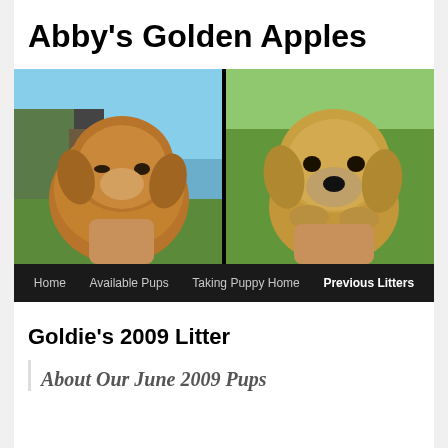Abby's Golden Apples
[Figure (photo): Two golden doodle puppies being held outdoors, side by side. Left puppy has curly reddish-brown fur against a house and trees background. Right puppy has lighter golden fur facing camera against a green yard background.]
Home | Available Pups | Taking Puppy Home | Previous Litters
Goldie's 2009 Litter
About Our June 2009 Pups